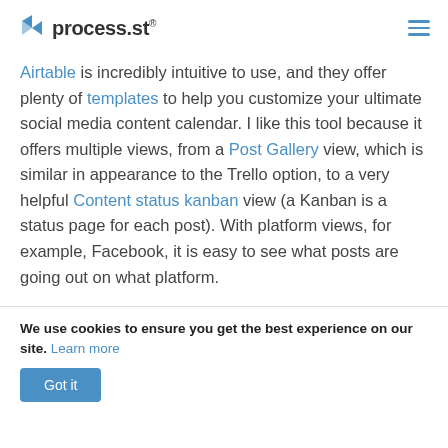process.st
Airtable is incredibly intuitive to use, and they offer plenty of templates to help you customize your ultimate social media content calendar. I like this tool because it offers multiple views, from a Post Gallery view, which is similar in appearance to the Trello option, to a very helpful Content status kanban view (a Kanban is a status page for each post). With platform views, for example, Facebook, it is easy to see what posts are going out on what platform.
We use cookies to ensure you get the best experience on our site. Learn more
Got it